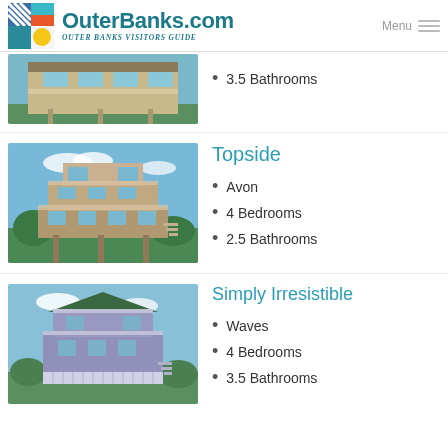OuterBanks.com Visitors Guide
3.5 Bathrooms
Topside
Avon
4 Bedrooms
2.5 Bathrooms
Simply Irresistible
Waves
4 Bedrooms
3.5 Bathrooms